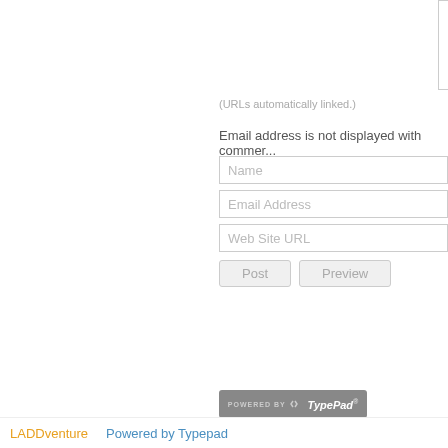(URLs automatically linked.)
Email address is not displayed with comments.
Name
Email Address
Web Site URL
Post   Preview
[Figure (logo): Powered by TypePad badge — gray rounded rectangle with 'POWERED BY' text and TypePad logo]
LADDventure   Powered by Typepad